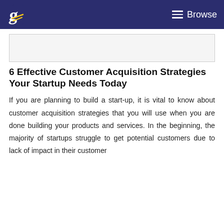Browse
[Figure (other): Advertisement or image placeholder box]
6 Effective Customer Acquisition Strategies Your Startup Needs Today
If you are planning to build a start-up, it is vital to know about customer acquisition strategies that you will use when you are done building your products and services. In the beginning, the majority of startups struggle to get potential customers due to lack of impact in their customer